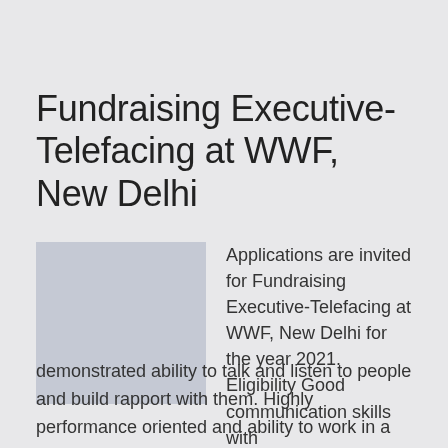Fundraising Executive-Telefacing at WWF, New Delhi
[Figure (other): Placeholder image (light blue-gray rectangle)]
Applications are invited for Fundraising Executive-Telefacing at WWF, New Delhi for the year 2021. Eligibility Good communication skills with demonstrated ability to talk and listen to people and build rapport with them. Highly performance oriented and ability to work in a team. Strong